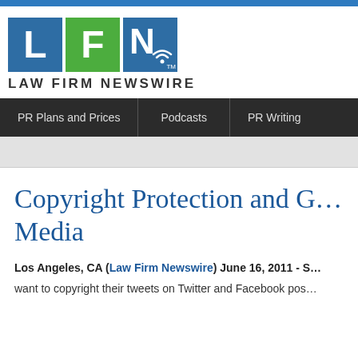[Figure (logo): Law Firm Newswire logo with three colored squares showing L, F, N letters and wifi symbol, with text LAW FIRM NEWSWIRE below]
PR Plans and Prices | Podcasts | PR Writing
Copyright Protection and ... Media
Los Angeles, CA (Law Firm Newswire) June 16, 2011 - S...
want to copyright their tweets on Twitter and Facebook pos...